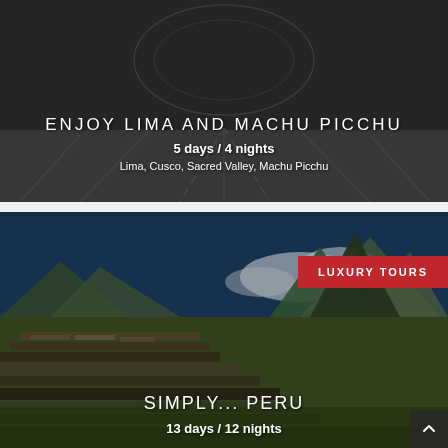[Figure (photo): Top card: Machu Picchu ruins landscape with dark overlay showing tour card for 'Enjoy Lima and Machu Picchu']
ENJOY LIMA AND MACHU PICCHU
5 days / 4 nights
Lima, Cusco, Sacred Valley, Machu Picchu
[Figure (photo): Bottom card: Machu Picchu ruins with mountains and blue sky, with LUXURY TOURS badge and Simply... Peru tour card]
LUXURY TOURS
SIMPLY... PERU
13 days / 12 nights